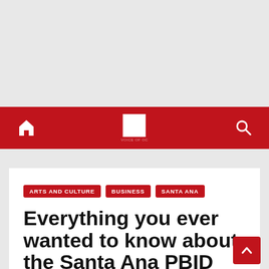[Figure (screenshot): Top gray banner/advertisement area]
Navigation bar with home icon, site logo, and search icon
ARTS AND CULTURE
BUSINESS
SANTA ANA
Everything you ever wanted to know about the Santa Ana PBID